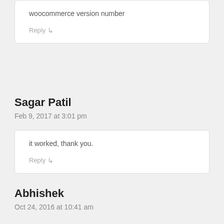woocommerce version number
Reply ↳
Sagar Patil
Feb 9, 2017 at 3:01 pm
it worked, thank you.
Reply ↳
Abhishek
Oct 24, 2016 at 10:41 am